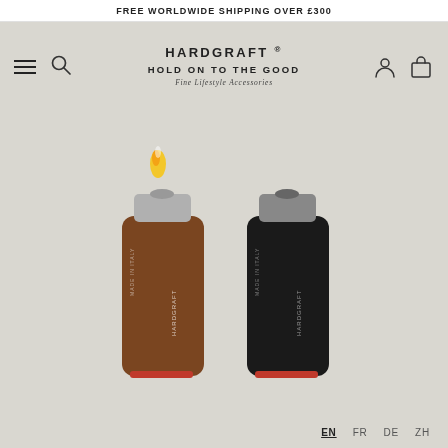FREE WORLDWIDE SHIPPING OVER £300
[Figure (logo): Hardgraft brand logo with tagline HOLD ON TO THE GOOD and subtitle Fine Lifestyle Accessories, navigation bar with hamburger menu, search icon, user icon, and shopping bag icon]
[Figure (photo): Two leather lighter cases, one in brown textured leather and one in black smooth leather, each holding a lighter with red bottom visible, brown one has flame lit at top]
EN FR DE ZH